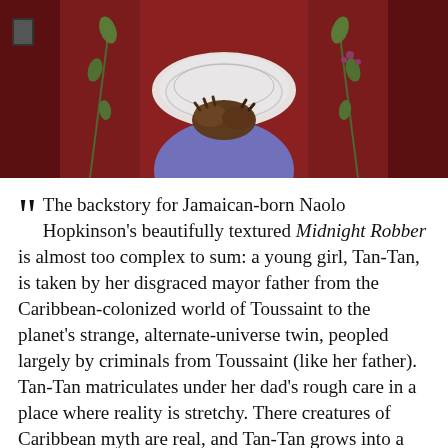[Figure (illustration): Book cover illustration showing a figure with clasped hands wearing a white lace collar, surrounded by botanical elements, against a dark red/brown background]
The backstory for Jamaican-born Naolo Hopkinson's beautifully textured Midnight Robber is almost too complex to sum: a young girl, Tan-Tan, is taken by her disgraced mayor father from the Caribbean-colonized world of Toussaint to the planet's strange, alternate-universe twin, peopled largely by criminals from Toussaint (like her father). Tan-Tan matriculates under her dad's rough care in a place where reality is stretchy. There creatures of Caribbean myth are real, and Tan-Tan grows into a person of lore herself—the Midnight Robber, a sort of Robin Hood who spouts the poetry of the